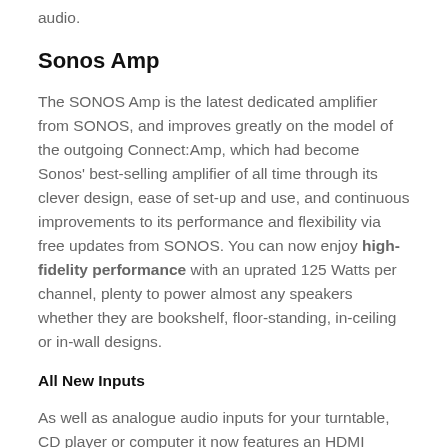audio.
Sonos Amp
The SONOS Amp is the latest dedicated amplifier from SONOS, and improves greatly on the model of the outgoing Connect:Amp, which had become Sonos' best-selling amplifier of all time through its clever design, ease of set-up and use, and continuous improvements to its performance and flexibility via free updates from SONOS. You can now enjoy high-fidelity performance with an uprated 125 Watts per channel, plenty to power almost any speakers whether they are bookshelf, floor-standing, in-ceiling or in-wall designs.
All New Inputs
As well as analogue audio inputs for your turntable, CD player or computer it now features an HDMI connection with ARC (Audio Return Channel) to allow connection of